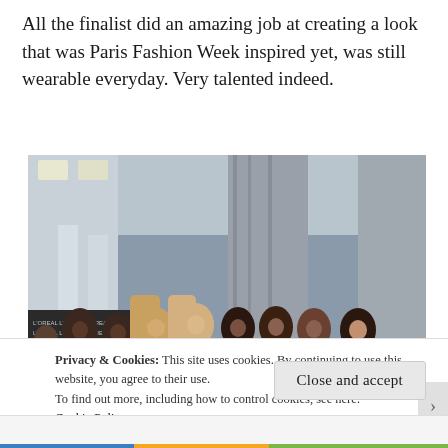All the finalist did an amazing job at creating a look that was Paris Fashion Week inspired yet, was still wearable everyday. Very talented indeed.
[Figure (photo): Group photo of eight young women standing together at what appears to be a fashion event venue, with L'Oreal branded backdrop visible on the left side.]
Privacy & Cookies: This site uses cookies. By continuing to use this website, you agree to their use.
To find out more, including how to control cookies, see here:
Cookie Policy